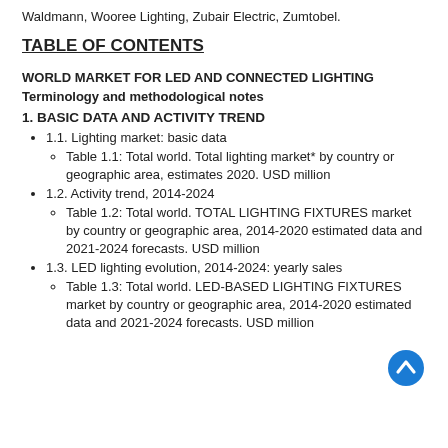Waldmann, Wooree Lighting, Zubair Electric, Zumtobel.
TABLE OF CONTENTS
WORLD MARKET FOR LED AND CONNECTED LIGHTING
Terminology and methodological notes
1. BASIC DATA AND ACTIVITY TREND
1.1. Lighting market: basic data
Table 1.1: Total world. Total lighting market* by country or geographic area, estimates 2020. USD million
1.2. Activity trend, 2014-2024
Table 1.2: Total world. TOTAL LIGHTING FIXTURES market by country or geographic area, 2014-2020 estimated data and 2021-2024 forecasts. USD million
1.3. LED lighting evolution, 2014-2024: yearly sales
Table 1.3: Total world. LED-BASED LIGHTING FIXTURES market by country or geographic area, 2014-2020 estimated data and 2021-2024 forecasts. USD million